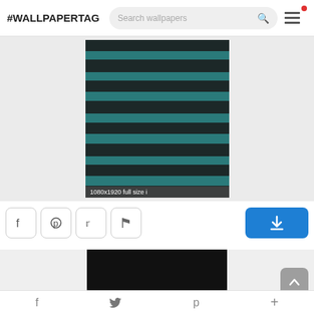#WALLPAPERTAG
[Figure (screenshot): Search box with placeholder text 'Search wallpapers' and a magnifying glass icon]
[Figure (photo): Wallpaper image with teal and black horizontal stripes texture]
1080x1920 full size i
[Figure (screenshot): Social share buttons: Facebook, Pinterest, Twitter, Flag icons, and a blue download button]
[Figure (photo): Second wallpaper thumbnail showing mostly black image]
f  (twitter bird)  p  +